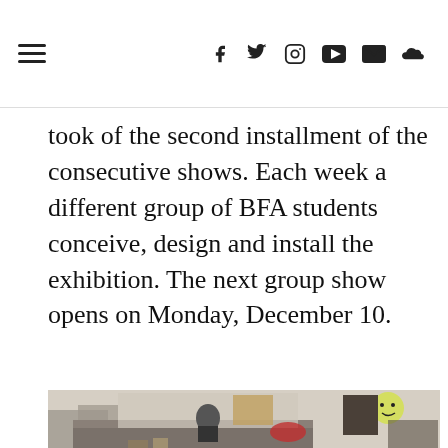Navigation bar with hamburger menu and social icons: Facebook, Twitter, Instagram, YouTube, Email, SoundCloud
took of the second installment of the consecutive shows. Each week a different group of BFA students conceive, design and install the exhibition. The next group show opens on Monday, December 10.
[Figure (photo): A young person sits on a couch in a room with a wall covered in handwritten notes, posters, and drawings. Various artworks and decorations are visible on the walls, including a smiley face drawing, a dark figure illustration, and event posters. A bookshelf, bicycle, and cluttered furniture surround the subject.]